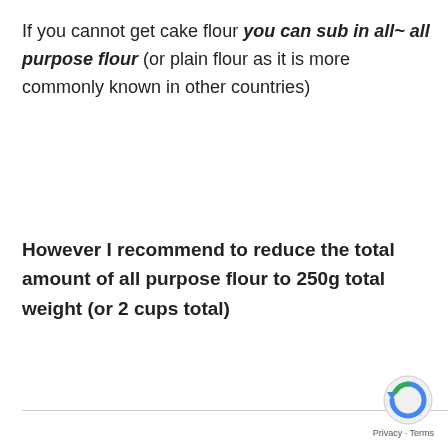If you cannot get cake flour you can sub in all~ all purpose flour (or plain flour as it is more commonly known in other countries)
However I recommend to reduce the total amount of all purpose flour to 250g total weight (or 2 cups total)